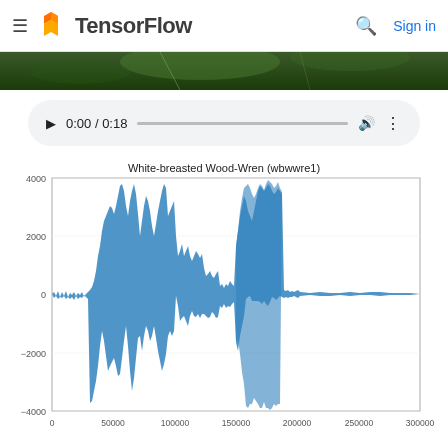TensorFlow — Sign in
[Figure (photo): Dark nature photo strip showing blurred green foliage]
[Figure (other): Audio player control showing 0:00 / 0:18 with play button, progress bar, volume and more options]
[Figure (continuous-plot): Audio waveform plot of bird call showing amplitude vs sample number. Two main bursts of high amplitude sound (reaching ~4000 and ~-4000) centered around samples 50000-100000 and 130000-190000, with lower amplitude signals elsewhere.]